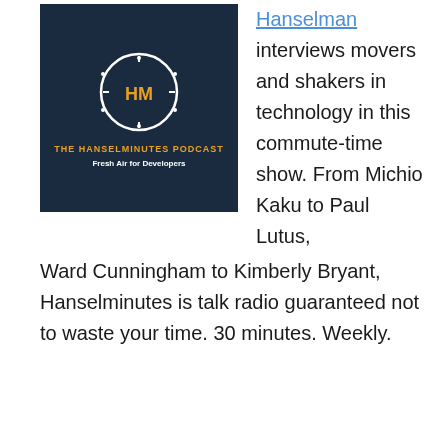[Figure (photo): The Hanselminutes Podcast artwork showing a clock logo with HM initials, text reading 'THE HANSELMINUTES PODCAST Fresh Air for Developers' on dark background with a person visible]
Hanselman interviews movers and shakers in technology in this commute-time show. From Michio Kaku to Paul Lutus, Ward Cunningham to Kimberly Bryant, Hanselminutes is talk radio guaranteed not to waste your time. 30 minutes. Weekly.